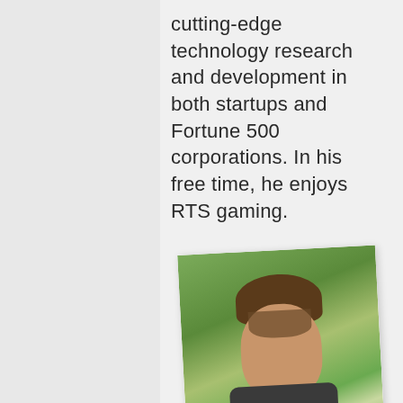cutting-edge technology research and development in both startups and Fortune 500 corporations. In his free time, he enjoys RTS gaming.
[Figure (photo): A photo of a young man with brown hair and a beard, smiling, with trees in the background. The photo is slightly tilted.]